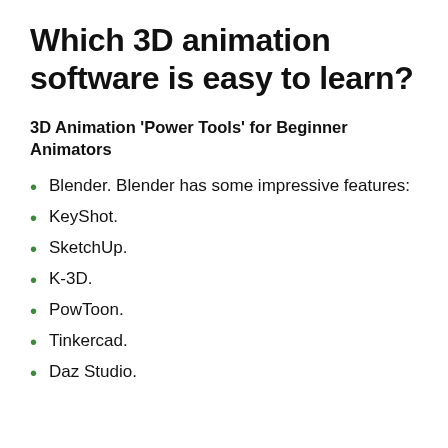Which 3D animation software is easy to learn?
3D Animation ‘Power Tools’ for Beginner Animators
Blender. Blender has some impressive features:
KeyShot.
SketchUp.
K-3D.
PowToon.
Tinkercad.
Daz Studio.